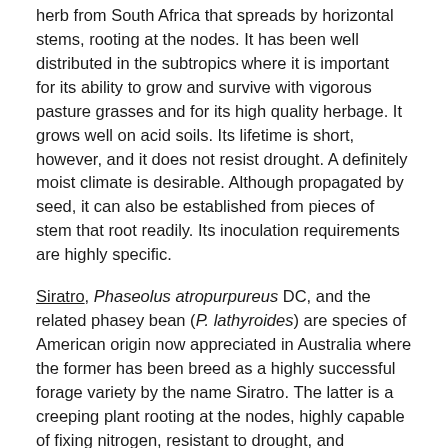herb from South Africa that spreads by horizontal stems, rooting at the nodes. It has been well distributed in the subtropics where it is important for its ability to grow and survive with vigorous pasture grasses and for its high quality herbage. It grows well on acid soils. Its lifetime is short, however, and it does not resist drought. A definitely moist climate is desirable. Although propagated by seed, it can also be established from pieces of stem that root readily. Its inoculation requirements are highly specific.
Siratro, Phaseolus atropurpureus DC, and the related phasey bean (P. lathyroides) are species of American origin now appreciated in Australia where the former has been breed as a highly successful forage variety by the name Siratro. The latter is a creeping plant rooting at the nodes, highly capable of fixing nitrogen, resistant to drought, and surviving very well with grasses. It is highly adaptable but prefers areas of moderate rainfall. In the hot, humid tropics it grows best during the summer season. Although seed inoculation is recommended, the common Rhizobium strains known as cowpea types are suitable.
Tropical kudzu, Pueraria phaseoloides Benth., from tropical Asia is